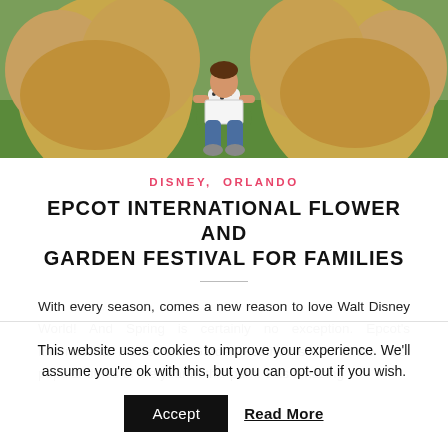[Figure (photo): Child sitting between two large topiary animal sculptures (possibly bears or lions) on green grass at Epcot, reading a book or paper]
DISNEY, ORLANDO
EPCOT INTERNATIONAL FLOWER AND GARDEN FESTIVAL FOR FAMILIES
With every season, comes a new reason to love Walt Disney World! And Spring is certainly no exception. Epcot's International Flower and Garden Festival is one of the most popular times of the year at this park. This amazing
This website uses cookies to improve your experience. We'll assume you're ok with this, but you can opt-out if you wish.
Accept   Read More